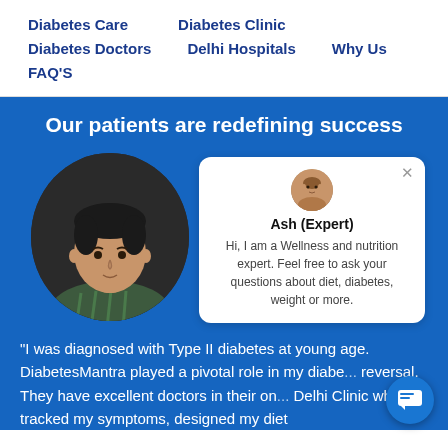Diabetes Care   Diabetes Clinic   Diabetes Doctors   Delhi Hospitals   Why Us   FAQ'S
Our patients are redefining success
[Figure (photo): Circular cropped photo of a young male patient on blue background, alongside a chat bubble with expert Ash (Expert) offering wellness and nutrition advice]
Ash (Expert)
Hi, I am a Wellness and nutrition expert. Feel free to ask your questions about diet, diabetes, weight or more.
“I was diagnosed with Type II diabetes at young age. DiabetesMantra played a pivotal role in my diabe... reversal. They have excellent doctors in their on... Delhi Clinic who tracked my symptoms, designed my diet